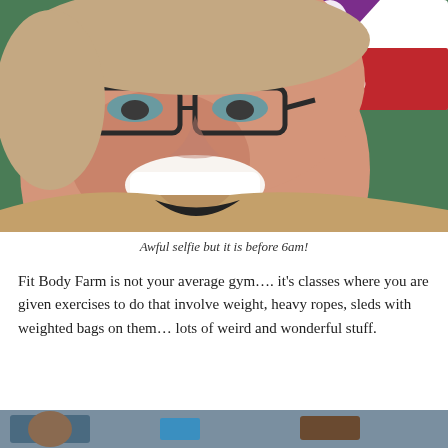[Figure (photo): Selfie of a woman with glasses smiling, wearing a beige fleece jacket, standing in front of a green wall and a red/purple Fit Body Farm.com sign/banner]
Awful selfie but it is before 6am!
Fit Body Farm is not your average gym…. it's classes where you are given exercises to do that involve weight, heavy ropes, sleds with weighted bags on them… lots of weird and wonderful stuff.
[Figure (photo): Bottom portion of another photo, partially visible at the bottom of the page]